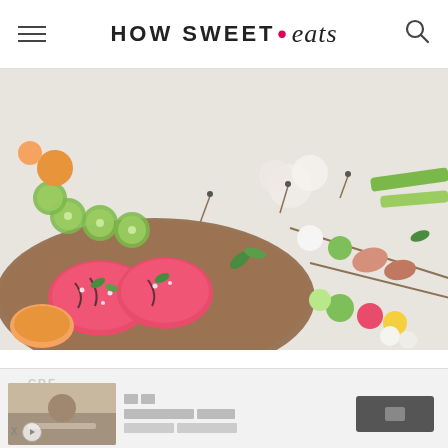HOW SWEET • eats
[Figure (photo): Overhead flat-lay photo of summer appetizer skewers and watermelon slices on a wooden board with cucumbers, melon balls, prosciutto, mozzarella, tomatoes, and olive oil on a white marble surface.]
Welcome back to Summer Fridays! Let's make it feel like a fun day of vacation, k?
[Figure (other): Advertisement banner with thumbnail image, Korean text, and a button.]